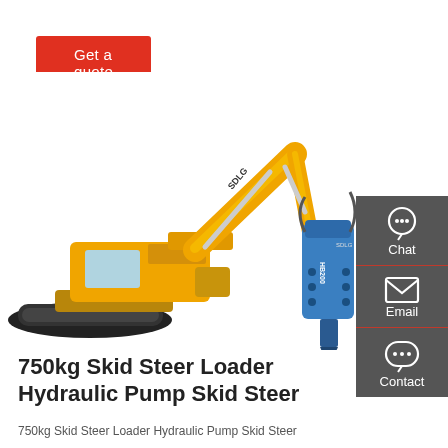Get a quote
[Figure (photo): Yellow SDLG crawler excavator with blue hydraulic hammer attachment (HB200), white background product photo]
750kg Skid Steer Loader Hydraulic Pump Skid Steer
750kg Skid Steer Loader Hydraulic Pump Skid Steer